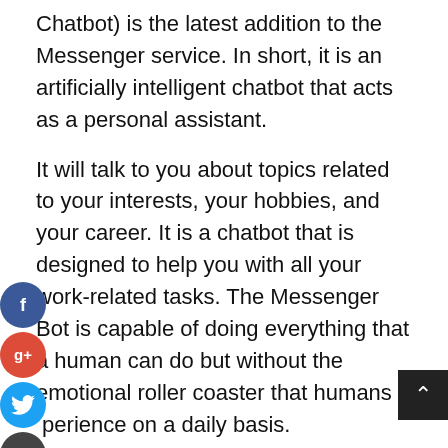Chatbot) is the latest addition to the Messenger service. In short, it is an artificially intelligent chatbot that acts as a personal assistant.
It will talk to you about topics related to your interests, your hobbies, and your career. It is a chatbot that is designed to help you with all your work-related tasks. The Messenger Bot is capable of doing everything that a human can do but without the emotional roller coaster that humans experience on a daily basis.
Facebook Chatbot is an application that is very much advanced and unique in its technology. It is designed in such a way that it can do almost every task that you ask of it and more.
The Messenger Bot can help you in answering your questions, giving you advice, and making suggestions regarding your life. The Messenger ChatBot will also help